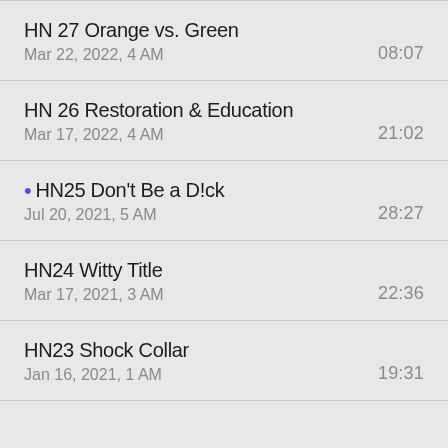HN 27 Orange vs. Green
Mar 22, 2022, 4 AM	08:07
HN 26 Restoration & Education
Mar 17, 2022, 4 AM	21:02
• HN25 Don't Be a D!ck
Jul 20, 2021, 5 AM	28:27
HN24 Witty Title
Mar 17, 2021, 3 AM	22:36
HN23 Shock Collar
Jan 16, 2021, 1 AM	19:31